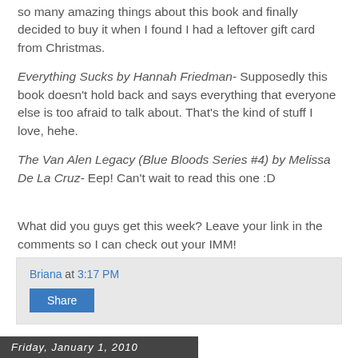so many amazing things about this book and finally decided to buy it when I found I had a leftover gift card from Christmas.
Everything Sucks by Hannah Friedman- Supposedly this book doesn't hold back and says everything that everyone else is too afraid to talk about. That's the kind of stuff I love, hehe.
The Van Alen Legacy (Blue Bloods Series #4) by Melissa De La Cruz- Eep! Can't wait to read this one :D
What did you guys get this week? Leave your link in the comments so I can check out your IMM!
Briana at 3:17 PM
Share
Friday, January 1, 2010